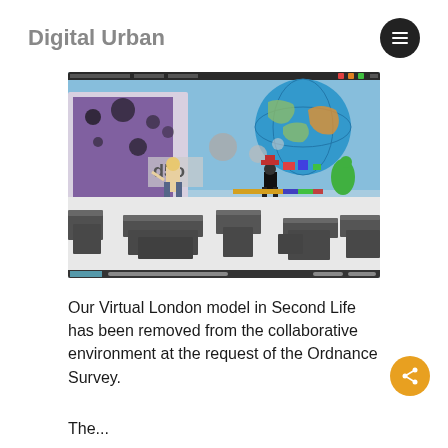Digital Urban
[Figure (screenshot): Screenshot of a 3D virtual environment (Second Life) showing a virtual London city model with avatar characters, a large globe, futuristic buildings, and dark geometric building blocks on a white ground plane.]
Our Virtual London model in Second Life has been removed from the collaborative environment at the request of the Ordnance Survey.
The...